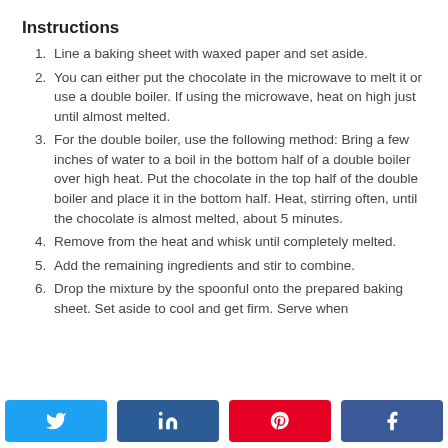Instructions
Line a baking sheet with waxed paper and set aside.
You can either put the chocolate in the microwave to melt it or use a double boiler. If using the microwave, heat on high just until almost melted.
For the double boiler, use the following method: Bring a few inches of water to a boil in the bottom half of a double boiler over high heat. Put the chocolate in the top half of the double boiler and place it in the bottom half. Heat, stirring often, until the chocolate is almost melted, about 5 minutes.
Remove from the heat and whisk until completely melted.
Add the remaining ingredients and stir to combine.
Drop the mixture by the spoonful onto the prepared baking sheet. Set aside to cool and get firm. Serve when
[Figure (other): Social share buttons: Twitter (blue), LinkedIn (dark blue), Pinterest (red), Facebook (dark blue)]